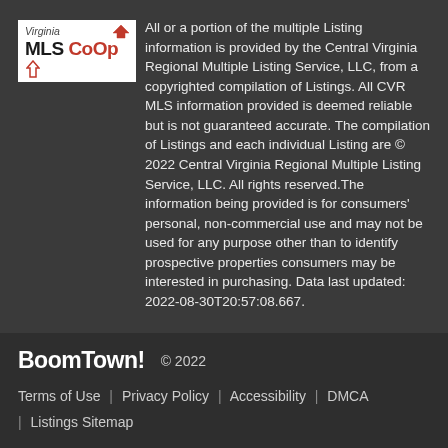[Figure (logo): Virginia MLS CoOp logo — white box with 'Virginia' text, house icon in red, and bold 'MLS CoOp' text]
All or a portion of the multiple Listing information is provided by the Central Virginia Regional Multiple Listing Service, LLC, from a copyrighted compilation of Listings. All CVR MLS information provided is deemed reliable but is not guaranteed accurate. The compilation of Listings and each individual Listing are © 2022 Central Virginia Regional Multiple Listing Service, LLC. All rights reserved.The information being provided is for consumers' personal, non-commercial use and may not be used for any purpose other than to identify prospective properties consumers may be interested in purchasing. Data last updated: 2022-08-30T20:57:08.667.
BoomTown! © 2022
Terms of Use | Privacy Policy | Accessibility | DMCA | Listings Sitemap
Take a Tour
Ask A Question